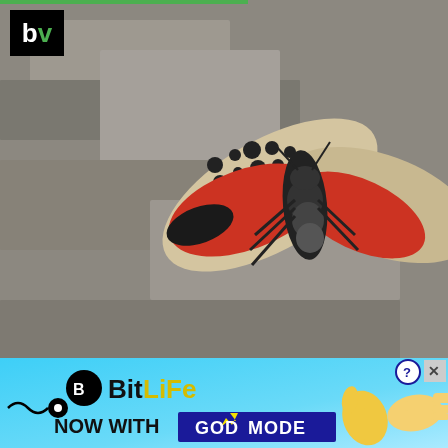[Figure (screenshot): Screenshot of a web page showing a spotted lanternfly photo with 'bv' logo, navigation icons (dots and X), and a dark panel with text 'Spotted Lanternfly: How to Combat This Invasive Pest', with a green arrow button]
most people realize. Walls look so smooth and thin when they're in place, but tear them apart and they're suddenly a huge, spiky pile of torn paper and broken drywall. And nobody can fit an old cast-iron bathtub in their weekly trash bin (or, in all likelihood, get it down the stairs and out to the curb). Junk removal allows homeowners to dispose of home
[Figure (screenshot): BitLife advertisement banner: 'NOW WITH GOD MODE' on a light blue background with illustrated hands and lightning bolt graphic]